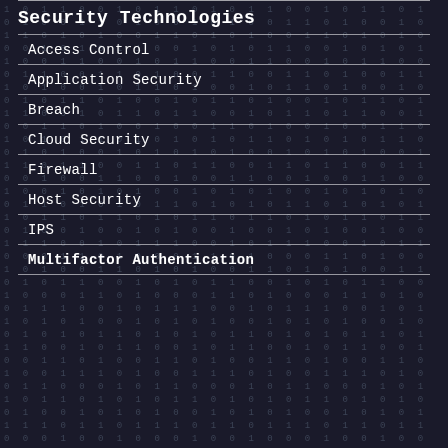Security Technologies
Access Control
Application Security
Breach
Cloud Security
Firewall
Host Security
IPS
Multifactor Authentication